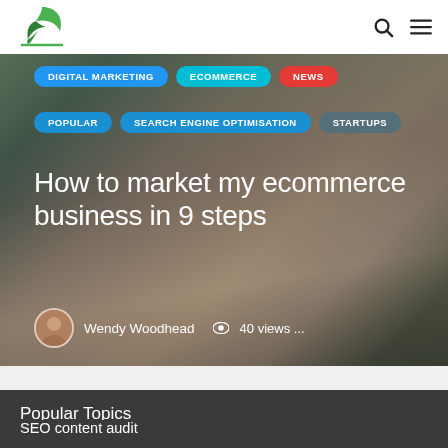[Figure (logo): Green feather/quill logo icon for a website]
[Figure (photo): Website screenshot showing a blog hero area with category tag pills (DIGITAL MARKETING, ECOMMERCE, NEWS, POPULAR, SEARCH ENGINE OPTIMISATION, STARTUPS), a large article title 'How to market my ecommerce business in 9 steps', author avatar and name Wendy Woodhead, and 40 views, overlaid on a photo of hands using a tablet]
How to market my ecommerce business in 9 steps
Wendy Woodhead  👁 40 views ...
Popular Topics
SEO content audit